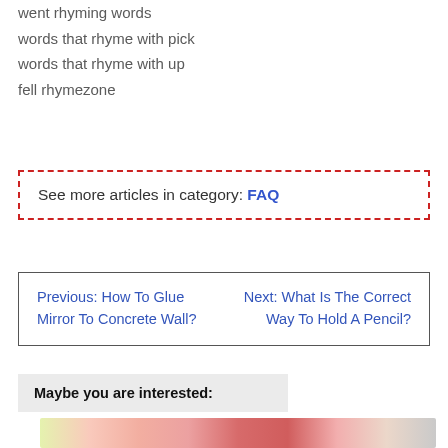went rhyming words
words that rhyme with pick
words that rhyme with up
fell rhymezone
See more articles in category: FAQ
Previous: How To Glue Mirror To Concrete Wall?   Next: What Is The Correct Way To Hold A Pencil?
Maybe you are interested:
[Figure (photo): Colorful floral or nature-themed decorative image with red, orange, yellow and green spots/flowers on a light background]